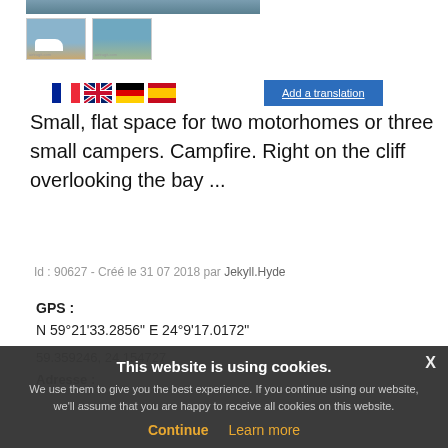[Figure (photo): Partial top image (cropped), thumbnail of motorhome on beach]
[Figure (photo): Thumbnail of coastal/beach scene]
[Figure (photo): Four language flag icons: French, British, German, Spanish]
Add a translation
Small, flat space for two motorhomes or three small campers. Campfire. Right on the cliff overlooking the bay ...
Id : 90627 - Créé le 31 07 2018 par Jekyll.Hyde
GPS :
N 59°21'33.2856" E 24°9'17.0172"
59.359246, 24.154727
Adresse :
This website is using cookies. We use them to give you the best experience. If you continue using our website, we'll assume that you are happy to receive all cookies on this website.
Continue
Learn more